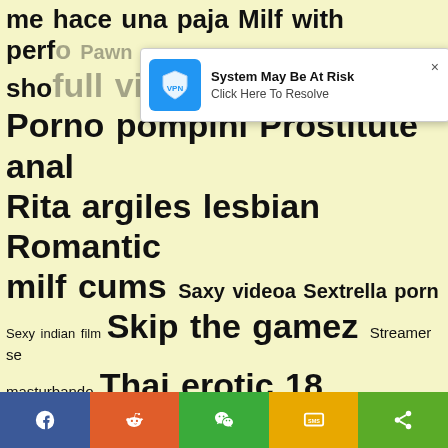[Figure (screenshot): A tag cloud on a pale yellow background containing adult/search terms in various font sizes. A VPN popup overlay appears in the upper portion. Bottom bar has social share buttons (Facebook, Reddit, WeChat, SMS, Share).]